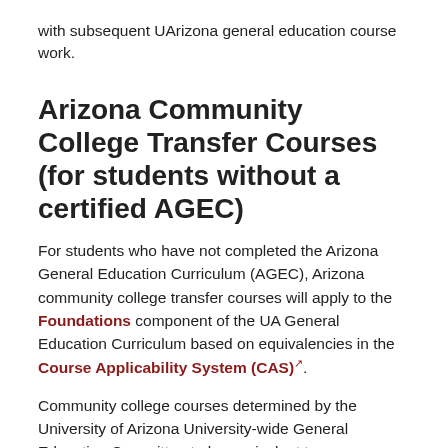with subsequent UArizona general education course work.
Arizona Community College Transfer Courses (for students without a certified AGEC)
For students who have not completed the Arizona General Education Curriculum (AGEC), Arizona community college transfer courses will apply to the Foundations component of the UA General Education Curriculum based on equivalencies in the Course Applicability System (CAS).
Community college courses determined by the University of Arizona University-wide General Education Committee to be equivalent to Perspectives and Building Connections courses as noted in the CAS will transfer on a course-by-course basis and fulfill the respective requirements. Additionally, the University of